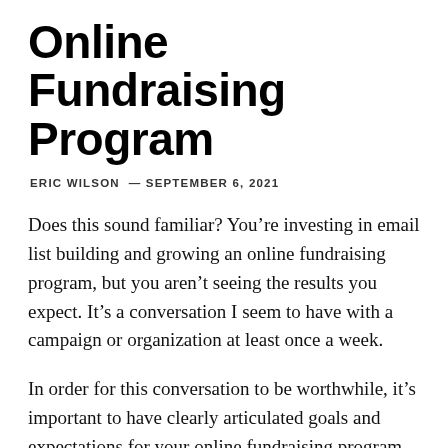Online Fundraising Program
ERIC WILSON — SEPTEMBER 6, 2021
Does this sound familiar? You're investing in email list building and growing an online fundraising program, but you aren't seeing the results you expect. It's a conversation I seem to have with a campaign or organization at least once a week.
In order for this conversation to be worthwhile, it's important to have clearly articulated goals and expectations for your online fundraising program. That could be growth in donors